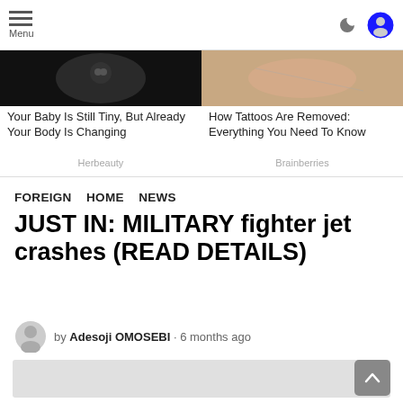Menu
[Figure (photo): Left ad image: dark background with partial face or eye visible - Your Baby Is Still Tiny, But Already Your Body Is Changing - Herbeauty]
[Figure (photo): Right ad image: skin-tone background - How Tattoos Are Removed: Everything You Need To Know - Brainberries]
Your Baby Is Still Tiny, But Already Your Body Is Changing
How Tattoos Are Removed: Everything You Need To Know
Herbeauty
Brainberries
FOREIGN   HOME   NEWS
JUST IN: MILITARY fighter jet crashes (READ DETAILS)
by Adesoji OMOSEBI · 6 months ago
[Figure (map): Map or image placeholder with light grey background]